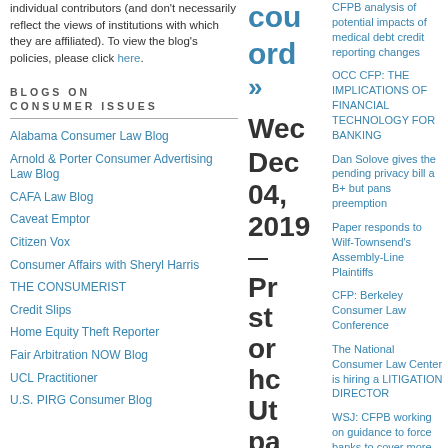individual contributors (and don't necessarily reflect the views of institutions with which they are affiliated). To view the blog's policies, please click here.
BLOGS ON CONSUMER ISSUES
Alabama Consumer Law Blog
Arnold & Porter Consumer Advertising Law Blog
CAFA Law Blog
Caveat Emptor
Citizen Vox
Consumer Affairs with Sheryl Harris
THE CONSUMERIST
Credit Slips
Home Equity Theft Reporter
Fair Arbitration NOW Blog
UCL Practitioner
U.S. PIRG Consumer Blog
cou ord »
Wed Dec 04, 2019 —
Pr st or hc Ut pa le ge bc jai fo
CFPB analysis of potential impacts of medical debt credit reporting changes
OCC CFP: THE IMPLICATIONS OF FINANCIAL TECHNOLOGY FOR BANKING
Dan Solove gives the pending privacy bill a B+ but pans preemption
Paper responds to Wilf-Townsend's Assembly-Line Plaintiffs
CFP: Berkeley Consumer Law Conference
The National Consumer Law Center is hiring a LITIGATION DIRECTOR
WSJ: CFPB working on guidance to force banks to cover more scams on Zelle and similar apps
Consumer law and the "major questions" doctrine
Will Congress pass an online privacy bill?
Distracted driving kills thousands of people every year
Chao paper suggests unjust